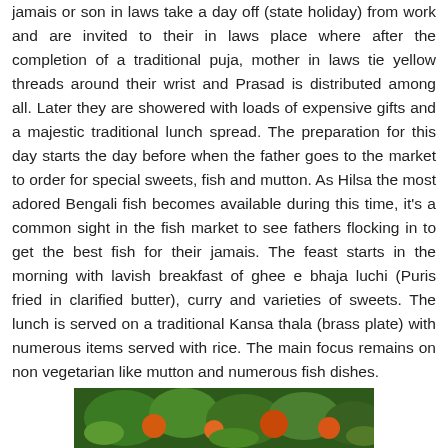jamais or son in laws take a day off (state holiday) from work and are invited to their in laws place where after the completion of a traditional puja, mother in laws tie yellow threads around their wrist and Prasad is distributed among all. Later they are showered with loads of expensive gifts and a majestic traditional lunch spread. The preparation for this day starts the day before when the father goes to the market to order for special sweets, fish and mutton. As Hilsa the most adored Bengali fish becomes available during this time, it's a common sight in the fish market to see fathers flocking in to get the best fish for their jamais. The feast starts in the morning with lavish breakfast of ghee e bhaja luchi (Puris fried in clarified butter), curry and varieties of sweets. The lunch is served on a traditional Kansa thala (brass plate) with numerous items served with rice. The main focus remains on non vegetarian like mutton and numerous fish dishes.
[Figure (photo): A photo showing colorful food or festive items, with green leaves and orange/yellow colors visible at the bottom of the page.]